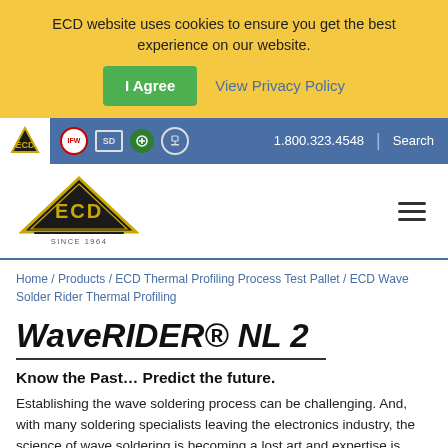ECD website uses cookies to ensure you get the best experience on our website.
I Agree
View Privacy Policy
1.800.323.4548  |  Search
[Figure (logo): ECD logo — black diamond/triangle shape with ECD letters in gold, 'SINCE 1964' text below]
Home / Products / ECD Thermal Profiling Process Test Pallet / ECD Wave Solder Rider Thermal Profiling
WaveRIDER® NL 2
Know the Past… Predict the future.
Establishing the wave soldering process can be challenging. And, with many soldering specialists leaving the electronics industry, the science of wave soldering is becoming a lost art and expertise is